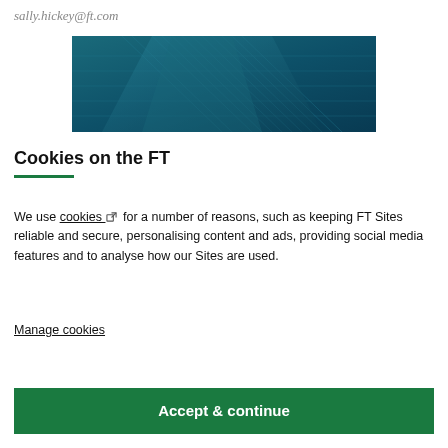sally.hickey@ft.com
[Figure (photo): Aerial or low-angle photo of a glass-and-steel skyscraper with a deep teal/blue color scheme]
Cookies on the FT
We use cookies for a number of reasons, such as keeping FT Sites reliable and secure, personalising content and ads, providing social media features and to analyse how our Sites are used.
Manage cookies
Accept & continue